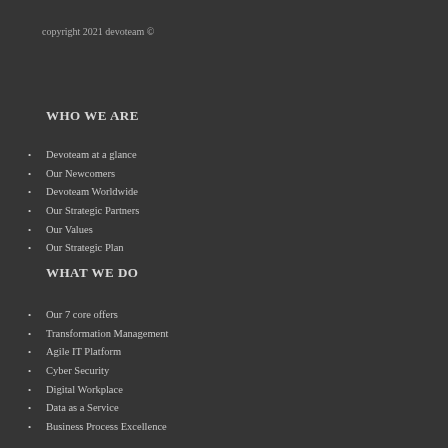copyright 2021 devoteam ©
WHO WE ARE
Devoteam at a glance
Our Newcomers
Devoteam Worldwide
Our Strategic Partners
Our Values
Our Strategic Plan
WHAT WE DO
Our 7 core offers
Transformation Management
Agile IT Platform
Cyber Security
Digital Workplace
Data as a Service
Business Process Excellence